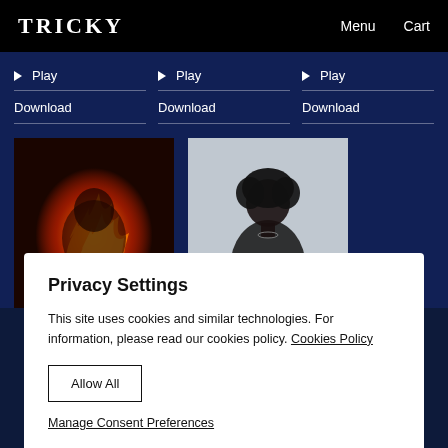TRICKY | Menu | Cart
▶ Play | Download | ▶ Play | Download | ▶ Play | Download
[Figure (photo): Album art: fiery orange and red flames engulfing a human figure on dark background]
[Figure (photo): Album art: dark-skinned person with afro hair standing against light grey background, body covered in dark material with a small white square on chest]
Privacy Settings
This site uses cookies and similar technologies. For information, please read our cookies policy. Cookies Policy
Allow All
Manage Consent Preferences